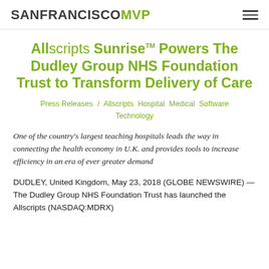SANFRANCISCOMVP
Allscripts Sunrise™ Powers The Dudley Group NHS Foundation Trust to Transform Delivery of Care
Press Releases / Allscripts Hospital Medical Software Technology
One of the country's largest teaching hospitals leads the way in connecting the health economy in U.K. and provides tools to increase efficiency in an era of ever greater demand
DUDLEY, United Kingdom, May 23, 2018 (GLOBE NEWSWIRE) — The Dudley Group NHS Foundation Trust has launched the Allscripts (NASDAQ:MDRX)